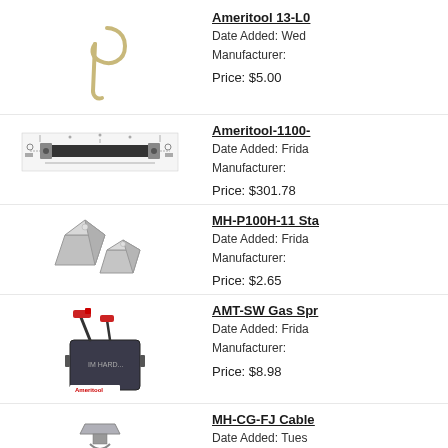[Figure (photo): Hook-shaped metal tool, tan/beige color]
Ameritool 13-L0
Date Added: Wed
Manufacturer:

Price: $5.00
[Figure (photo): Technical diagram/schematic of a cylindrical tool with labeled components]
Ameritool-1100-
Date Added: Frida
Manufacturer:

Price: $301.78
[Figure (photo): Two square metallic pyramid-shaped stainless steel floor drain covers]
MH-P100H-11 Sta
Date Added: Frida
Manufacturer:

Price: $2.65
[Figure (photo): AMT-SW Gas spark igniter module with red connector cables and Ameritool logo]
AMT-SW Gas Spr
Date Added: Frida
Manufacturer:

Price: $8.98
[Figure (photo): Partial view of a cable/clamp hardware product]
MH-CG-FJ Cable
Date Added: Tues